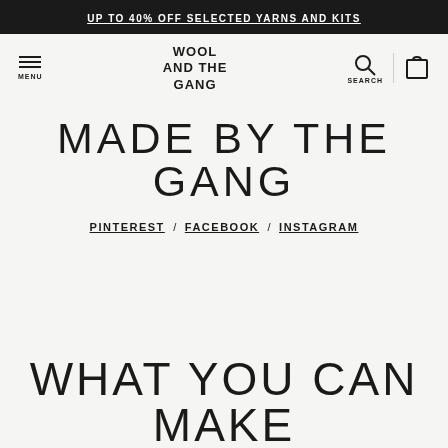UP TO 40% OFF SELECTED YARNS AND KITS
[Figure (screenshot): Wool and the Gang website navigation bar with hamburger menu icon on left, logo in center reading WOOL AND THE GANG, and search and bag icons on right]
MADE BY THE GANG
PINTEREST / FACEBOOK / INSTAGRAM
WHAT YOU CAN MAKE